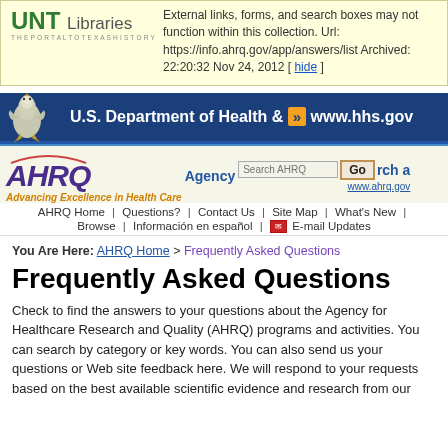UNT Libraries — External links, forms, and search boxes may not function within this collection. Url: https://info.ahrq.gov/app/answers/list Archived: 22:20:32 Nov 24, 2012 [ hide ]
[Figure (screenshot): U.S. Department of Health & Human Services banner with HHS logo and www.hhs.gov]
[Figure (screenshot): AHRQ Agency for Healthcare Research and Quality header with search box, Go button, navigation links: AHRQ Home, Questions?, Contact Us, Site Map, What's New, Browse, Información en español, E-mail Updates]
You Are Here: AHRQ Home > Frequently Asked Questions
Frequently Asked Questions
Check to find the answers to your questions about the Agency for Healthcare Research and Quality (AHRQ) programs and activities. You can search by category or key words. You can also send us your questions or Web site feedback here. We will respond to your requests based on the best available scientific evidence and research from our